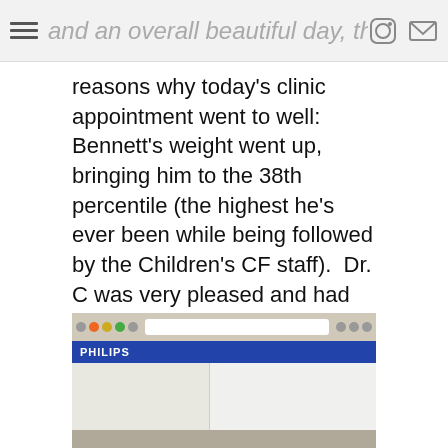and an overall beautiful day, there are more
reasons why today's clinic appointment went to well:  Bennett's weight went up, bringing him to the 38th percentile (the highest he's ever been while being followed by the Children's CF staff).  Dr. C was very pleased and had no complaints about his weight.  Everyone is particularly delighted as he has been in school for quite some time now.  This tells us that he is eating well at school where he must eat independently!  (Hard to believe only a year and a half ago we were at a feeding clinic for a child who wouldn't eat!)
[Figure (screenshot): Screenshot of a computer screen showing what appears to be a Philips software interface with browser toolbar and dual-pane layout]